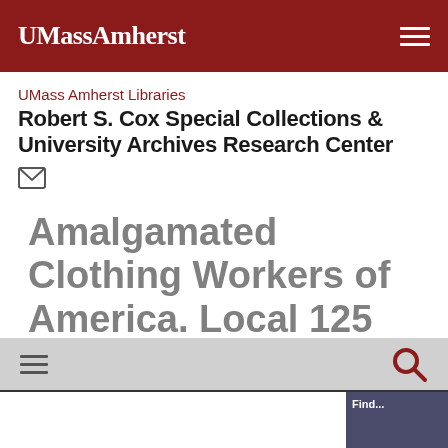UMassAmherst
UMass Amherst Libraries
Robert S. Cox Special Collections & University Archives Research Center
Amalgamated Clothing Workers of America. Local 125